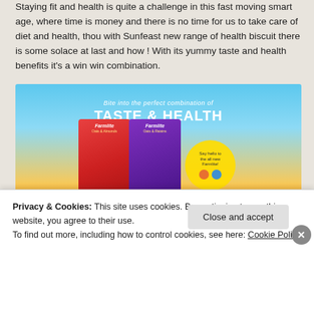Staying fit and health is quite a challenge in this fast moving smart age, where time is money and there is no time for us to take care of diet and health, thou with Sunfeast new range of health biscuit there is some solace at last and how ! With its yummy taste and health benefits it's a win win combination.
[Figure (photo): Sunfeast Farmlite health biscuit product advertisement banner showing two biscuit packages (red and purple) with text 'Bite into the perfect combination of TASTE & HEALTH' on a blue sky and golden wheat field background, with cookies and nuts displayed in front.]
Let's now give you some good reasons to stay fit, active and enjoy the new range of Sunfeast's FARMLITE health biscuits with nuts and...
Privacy & Cookies: This site uses cookies. By continuing to use this website, you agree to their use.
To find out more, including how to control cookies, see here: Cookie Policy
Close and accept